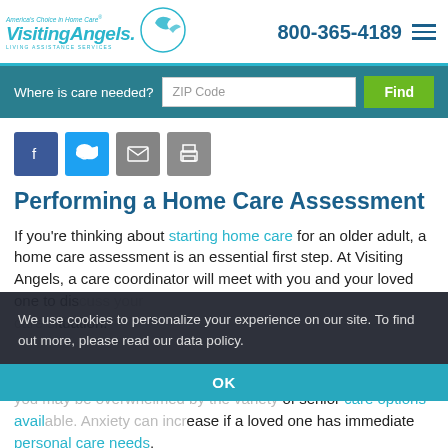America's Choice in Home Care — Visiting Angels — LIVING ASSISTANCE SERVICES — 800-365-4189
Where is care needed? ZIP Code Find
[Figure (infographic): Social share buttons: Facebook (blue), Twitter (light blue), Email (grey), Print (grey)]
Performing a Home Care Assessment
If you're thinking about starting home care for an older adult, a home care assessment is an essential first step. At Visiting Angels, a care coordinator will meet with you and your loved one to discuss your care situation.
We use cookies to personalize your experience on our site. To find out more, please read our data policy.
You may be overwhelmed by the variety of senior care options available. Anxiety can increase if a loved one has immediate personal care needs.
OK